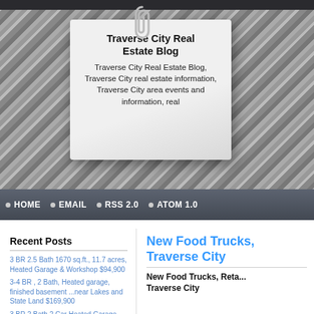[Figure (photo): Black and white rocky snowy landscape background for website banner header]
Traverse City Real Estate Blog
Traverse City Real Estate Blog, Traverse City real estate information, Traverse City area events and information, real
HOME  EMAIL  RSS 2.0  ATOM 1.0
Recent Posts
3 BR 2.5 Bath 1670 sq.ft., 11.7 acres, Heated Garage & Workshop $94,900
3-4 BR , 2 Bath, Heated garage, finished basement ...near Lakes and State Land $169,900
3 BR 2 Bath,2 Car Heated Garage Near State Land and Lakes $118,500
100 Ft. Private Lake Front - Beautiful Wooded Lot $39,000
New Food Trucks, New Restaurants in Traverse City
New Food Trucks, Reta... Traverse City